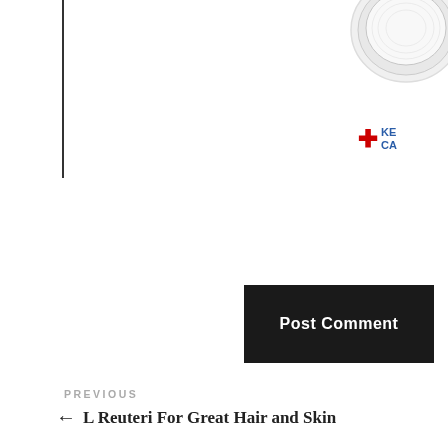[Figure (photo): Partial view of a white pill or supplement capsule container, top-right corner]
[Figure (logo): Red cross medical logo with blue text partially visible, reading KE CA]
Post Comment
PREVIOUS
← L Reuteri For Great Hair and Skin
NEXT
Toothaches and Erections? →